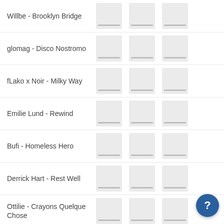Willbe - Brooklyn Bridge
glomag - Disco Nostromo
fLako x Noir - Milky Way
Emilie Lund - Rewind
Bufi - Homeless Hero
Derrick Hart - Rest Well
Ottilie - Crayons Quelque Chose
Rabato - We Are All On